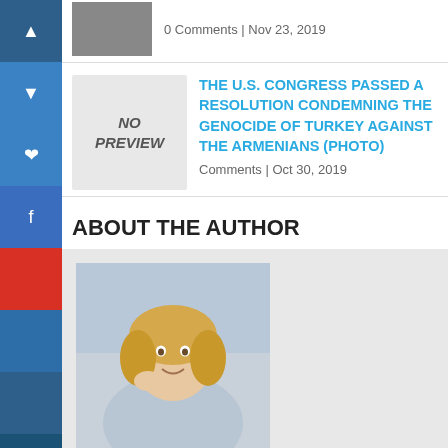0 Comments | Nov 23, 2019
[Figure (other): No Preview placeholder image for article about U.S. Congress resolution]
THE U.S. CONGRESS PASSED A RESOLUTION CONDEMNING THE GENOCIDE OF TURKEY AGAINST THE ARMENIANS (PHOTO)
Comments | Oct 30, 2019
ABOUT THE AUTHOR
[Figure (photo): Photo of author Katrine, a woman with blonde hair in a light blue jacket]
Katrine
Katrine Johns has been a reporter on the news desk since 2013. Before that she wrote about young adolescence and family dynamics for Styles and was the legal affairs